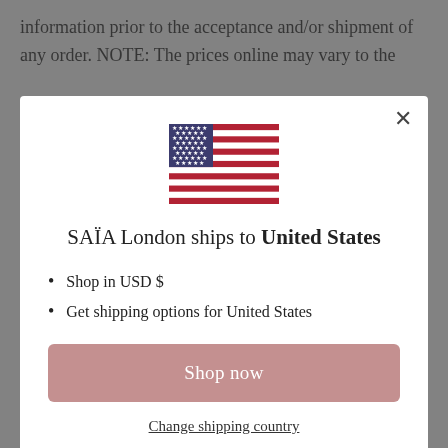information prior to the acceptance and/or shipment of any order. NOTE: The prices online may vary to the
[Figure (illustration): US flag SVG illustration]
SAÏA London ships to United States
Shop in USD $
Get shipping options for United States
Shop now
Change shipping country
materials for any public or commercial purpose. Any unauthorised use of any such information or materials